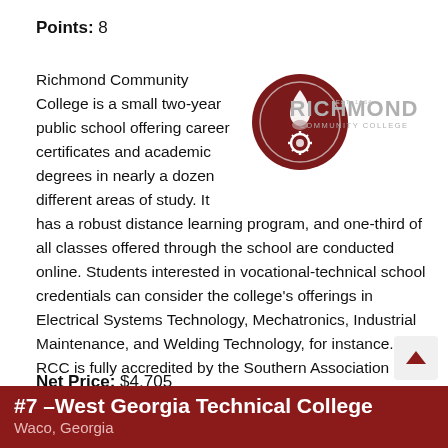Points: 8
[Figure (logo): Richmond Community College logo: dark red circular emblem with flame and gear, text RICHMOND COMMUNITY COLLEGE in grey]
Richmond Community College is a small two-year public school offering career certificates and academic degrees in nearly a dozen different areas of study. It has a robust distance learning program, and one-third of all classes offered through the school are conducted online. Students interested in vocational-technical school credentials can consider the college's offerings in Electrical Systems Technology, Mechatronics, Industrial Maintenance, and Welding Technology, for instance. RCC is fully accredited by the Southern Association of Colleges and Schools to award these degrees and certificates. Niche has named it one of the best community colleges in the U.S.
Net Price: $4,705
#7 –West Georgia Technical College
Waco, Georgia